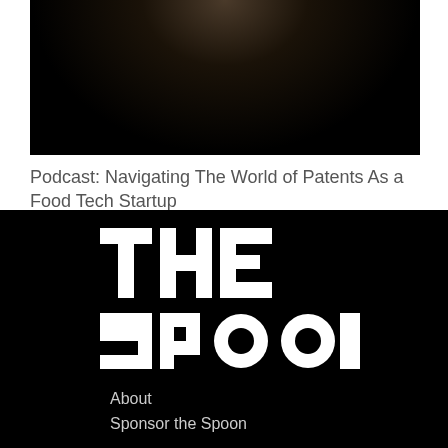[Figure (photo): Dark photograph with a person partially visible at the top, black background]
Podcast: Navigating The World of Patents As a Food Tech Startup
[Figure (logo): The Spoon logo in white bold text on black background]
About
Sponsor the Spoon